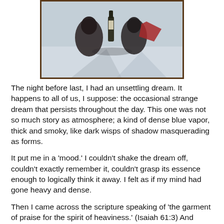[Figure (illustration): A partial painting or illustration showing dark shadowy figures with a bottle, on a light blue-grey snowy or misty background, framed with a dark brown border.]
The night before last, I had an unsettling dream. It happens to all of us, I suppose: the occasional strange dream that persists throughout the day. This one was not so much story as atmosphere; a kind of dense blue vapor, thick and smoky, like dark wisps of shadow masquerading as forms.
It put me in a 'mood.' I couldn't shake the dream off, couldn't exactly remember it, couldn't grasp its essence enough to logically think it away. I felt as if my mind had gone heavy and dense.
Then I came across the scripture speaking of 'the garment of praise for the spirit of heaviness.' (Isaiah 61:3) And there it was. The very 'piece of grillwork' I needed. A part of my habit. The garment of praise.
What a powerful image. Praise not just to 'do' now and then,